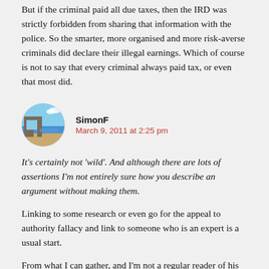But if the criminal paid all due taxes, then the IRD was strictly forbidden from sharing that information with the police. So the smarter, more organised and more risk-averse criminals did declare their illegal earnings. Which of course is not to say that every criminal always paid tax, or even that most did.
[Figure (photo): Circular avatar photo of a coastal landscape with a rock arch]
SimonF
March 9, 2011 at 2:25 pm
It's certainly not 'wild'. And although there are lots of assertions I'm not entirely sure how you describe an argument without making them.
Linking to some research or even go for the appeal to authority fallacy and link to someone who is an expert is a usual start.
From what I can gather, and I'm not a regular reader of his blog,